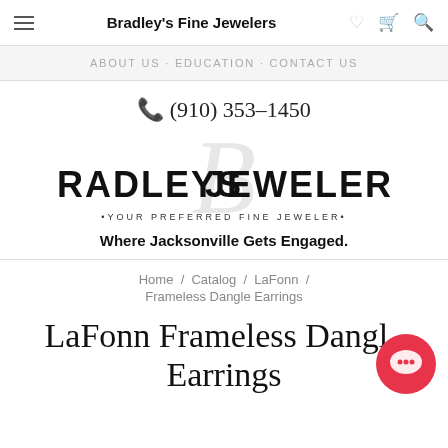Bradley's Fine Jewelers
ABOUT US · EDUCATION · CONTACT US
📞 (910) 353–1450
[Figure (logo): Bradleys Jewelers logo with large stylized B and text BRADLEYS JEWELERS and tagline YOUR PREFERRED FINE JEWELER]
Where Jacksonville Gets Engaged.
Home / Catalog / LaFonn / Frameless Dangle Earrings
LaFonn Frameless Dangle Earrings